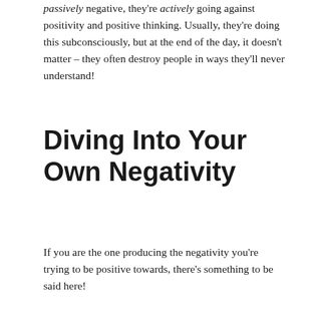passively negative, they're actively going against positivity and positive thinking. Usually, they're doing this subconsciously, but at the end of the day, it doesn't matter – they often destroy people in ways they'll never understand!
Diving Into Your Own Negativity
If you are the one producing the negativity you're trying to be positive towards, there's something to be said here!